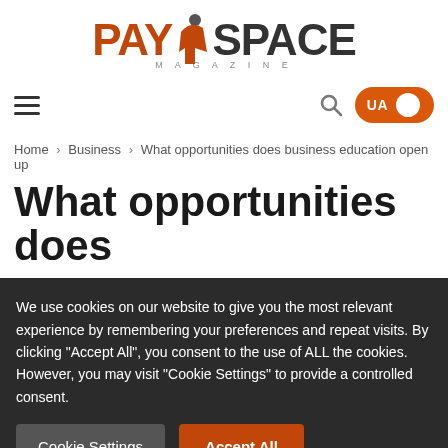PAYSPACE MAGAZINE
Home > Business > What opportunities does business education open up
What opportunities does
We use cookies on our website to give you the most relevant experience by remembering your preferences and repeat visits. By clicking "Accept All", you consent to the use of ALL the cookies. However, you may visit "Cookie Settings" to provide a controlled consent.
Cookie Settings | Accept All